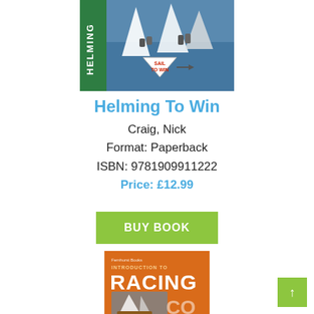[Figure (photo): Book cover for 'Helming To Win' showing sailors racing on water, with green spine reading HELMING and a triangular badge reading SAIL TO WIN]
Helming To Win
Craig, Nick
Format: Paperback
ISBN: 9781909911222
Price: £12.99
BUY BOOK
[Figure (photo): Book cover for 'Introduction to Racing' by Fernhurst Books, orange cover with large text RACING and image of a sailing dinghy]